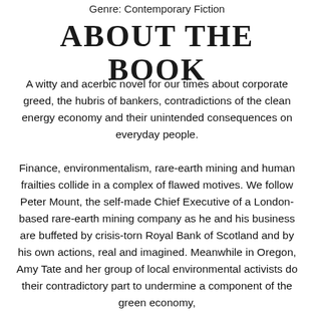Genre: Contemporary Fiction
About the Book
A witty and acerbic novel for our times about corporate greed, the hubris of bankers, contradictions of the clean energy economy and their unintended consequences on everyday people. Finance, environmentalism, rare-earth mining and human frailties collide in a complex of flawed motives. We follow Peter Mount, the self-made Chief Executive of a London-based rare-earth mining company as he and his business are buffeted by crisis-torn Royal Bank of Scotland and by his own actions, real and imagined. Meanwhile in Oregon, Amy Tate and her group of local environmental activists do their contradictory part to undermine a component of the green economy, unwittingly super-charged by the Chinese state. The